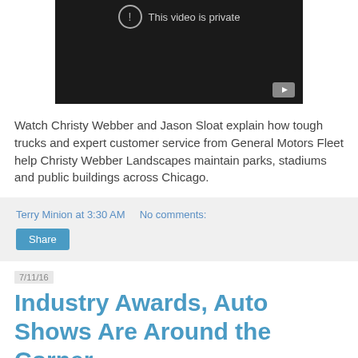[Figure (screenshot): YouTube video thumbnail showing 'This video is private' message with dark background and YouTube play button icon]
Watch Christy Webber and Jason Sloat explain how tough trucks and expert customer service from General Motors Fleet help Christy Webber Landscapes maintain parks, stadiums and public buildings across Chicago.
Terry Minion at 3:30 AM   No comments:
Share
7/11/16
Industry Awards, Auto Shows Are Around the Corner
[Figure (photo): Partial image of a photo at bottom of page]